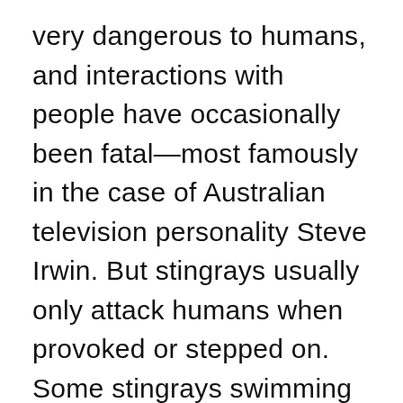very dangerous to humans, and interactions with people have occasionally been fatal—most famously in the case of Australian television personality Steve Irwin. But stingrays usually only attack humans when provoked or stepped on. Some stingrays swimming in touristic areas with frequent human traffic may be so accustomed to people that they can actually be petted and fed. Hopefully the